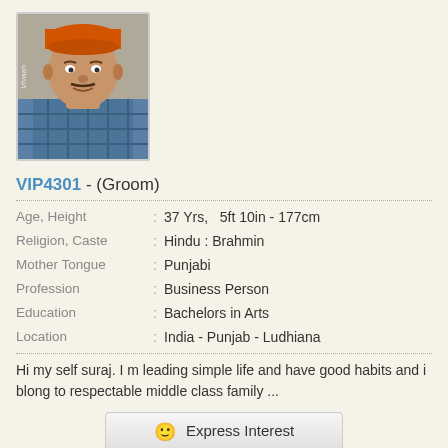[Figure (photo): Profile photo of a man wearing an orange cap and a plaid shirt, with a watermark on the left side.]
VIP4301 - (Groom)
| Field | : | Value |
| --- | --- | --- |
| Age, Height | : | 37 Yrs,   5ft 10in - 177cm |
| Religion, Caste | : | Hindu : Brahmin |
| Mother Tongue | : | Punjabi |
| Profession | : | Business Person |
| Education | : | Bachelors in Arts |
| Location | : | India - Punjab - Ludhiana |
Hi my self suraj. I m leading simple life and have good habits and i blong to respectable middle class family ...
Express Interest